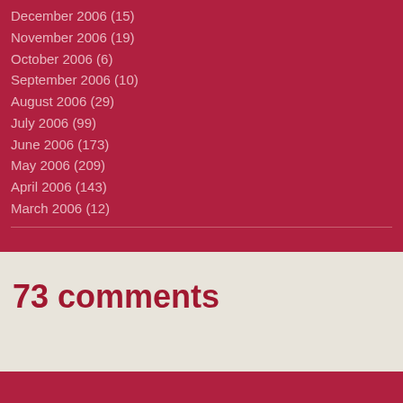December 2006 (15)
November 2006 (19)
October 2006 (6)
September 2006 (10)
August 2006 (29)
July 2006 (99)
June 2006 (173)
May 2006 (209)
April 2006 (143)
March 2006 (12)
73 comments